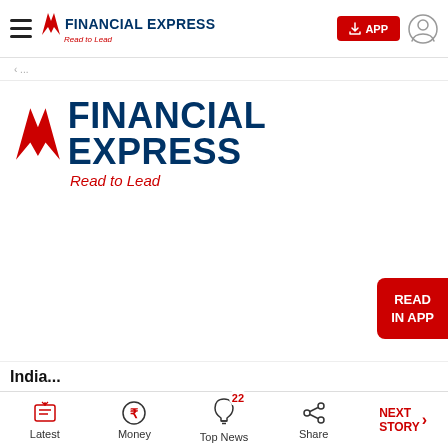FINANCIAL EXPRESS — Read to Lead (navigation bar with hamburger menu, APP button, user icon)
[Figure (logo): Financial Express logo — red chevron/flame icon, bold navy FINANCIAL EXPRESS text, red italic Read to Lead tagline]
[Figure (other): READ IN APP red button on right side]
India...
Latest | Money | Top News (22) | Share | NEXT STORY